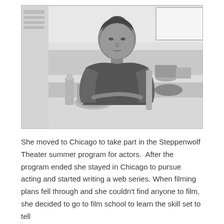[Figure (photo): Black and white photograph of a person with dark hair sitting at a kitchen table with books, dishes, and food items. Kitchen appliances visible in the background.]
She moved to Chicago to take part in the Steppenwolf Theater summer program for actors.  After the program ended she stayed in Chicago to pursue acting and started writing a web series. When filming plans fell through and she couldn't find anyone to film, she decided to go to film school to learn the skill set to tell